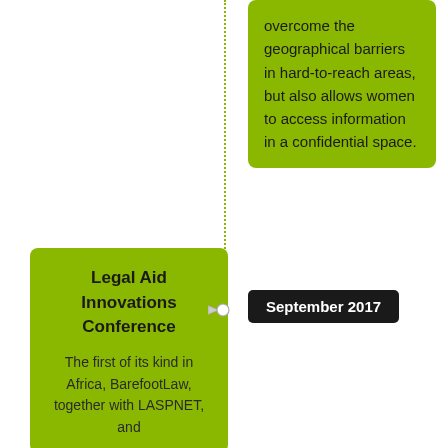overcome the geographical barriers in hard-to-reach areas, but also allows women to access information in a confidential space.
Legal Aid Innovations Conference
September 2017
The first of its kind in Africa, BarefootLaw, together with LASPNET, and